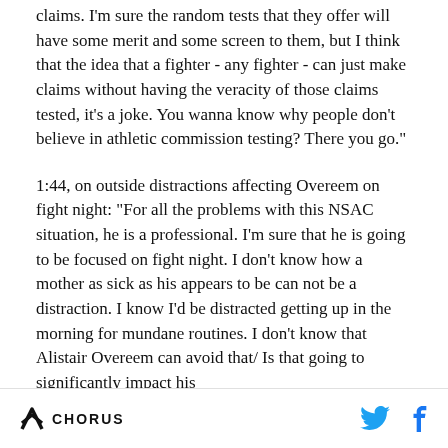claims. I'm sure the random tests that they offer will have some merit and some screen to them, but I think that the idea that a fighter - any fighter - can just make claims without having the veracity of those claims tested, it's a joke. You wanna know why people don't believe in athletic commission testing? There you go."
1:44, on outside distractions affecting Overeem on fight night: "For all the problems with this NSAC situation, he is a professional. I'm sure that he is going to be focused on fight night. I don't know how a mother as sick as his appears to be can not be a distraction. I know I'd be distracted getting up in the morning for mundane routines. I don't know that Alistair Overeem can avoid that/ Is that going to significantly impact his
CHORUS